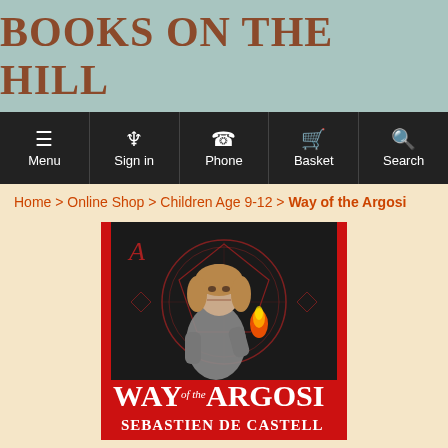BOOKS ON THE HILL
[Figure (screenshot): Navigation bar with Menu, Sign in, Phone, Basket, Search icons on dark background]
Home > Online Shop > Children Age 9-12 > Way of the Argosi
[Figure (photo): Book cover of 'Way of the Argosi' by Sebastien de Castell — red background with a young woman holding a flaming object, magical symbols behind her]